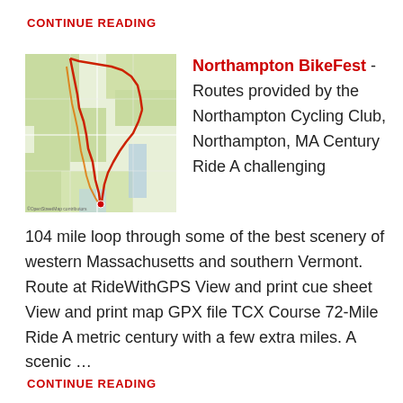CONTINUE READING
[Figure (map): A map showing cycling routes in the Northampton, MA area with red route lines overlaid on a street/terrain map]
Northampton BikeFest - Routes provided by the Northampton Cycling Club, Northampton, MA Century Ride A challenging
104 mile loop through some of the best scenery of western Massachusetts and southern Vermont. Route at RideWithGPS View and print cue sheet View and print map GPX file TCX Course 72-Mile Ride A metric century with a few extra miles. A scenic …
CONTINUE READING